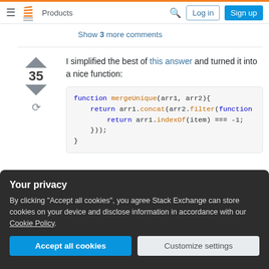≡ [Stack Overflow logo] Products 🔍 Log in Sign up
Show 3 more comments
I simplified the best of this answer and turned it into a nice function:
function mergeUnique(arr1, arr2){
    return arr1.concat(arr2.filter(function
        return arr1.indexOf(item) === -1;
    }));
}
Your privacy
By clicking "Accept all cookies", you agree Stack Exchange can store cookies on your device and disclose information in accordance with our Cookie Policy.
Accept all cookies   Customize settings